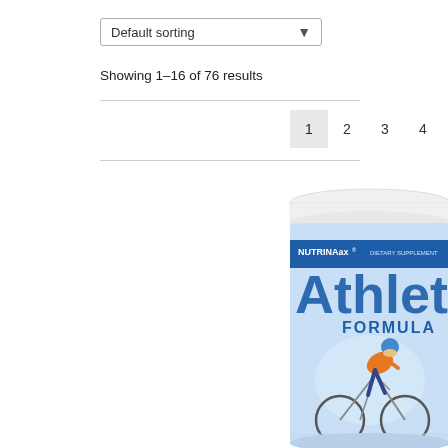Default sorting
Showing 1–16 of 76 results
[Figure (screenshot): Pagination bar showing page buttons 1 (active/highlighted), 2, 3, 4, 5, and a next arrow button]
[Figure (photo): Product image of NutrinaRX Athlete Formula dietary supplement container (white lid, blue label) with a cyclist riding a road bike depicted on the label]